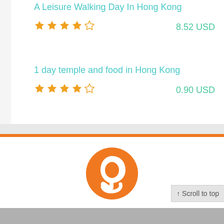A Leisure Walking Day In Hong Kong
★★★★☆  8.52 USD
1 day temple and food in Hong Kong
★★★★☆  0.90 USD
[Figure (logo): Justgola logo — orange circle with a white stylized J/arrow icon]
Justgola
Plan and travel
with confidence
↑ Scroll to top